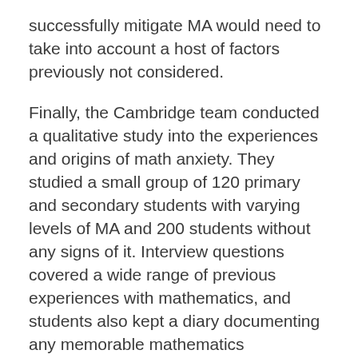successfully mitigate MA would need to take into account a host of factors previously not considered.
Finally, the Cambridge team conducted a qualitative study into the experiences and origins of math anxiety. They studied a small group of 120 primary and secondary students with varying levels of MA and 200 students without any signs of it. Interview questions covered a wide range of previous experiences with mathematics, and students also kept a diary documenting any memorable mathematics experiences that occurred over the course of the study period.
Differences in classroom experiences between students with and without MA fell into predicable patterns – with anxious students reporting high